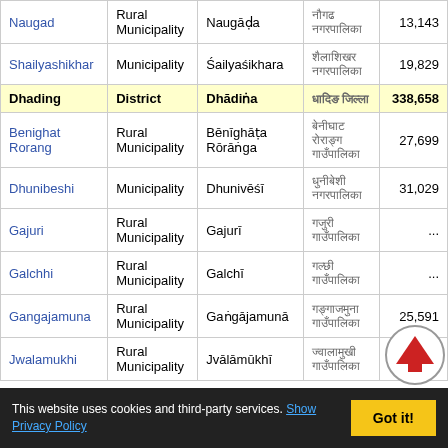| Name | Type | Romanized Name | Native Name | Population |
| --- | --- | --- | --- | --- |
| Naugad | Rural Municipality | Naugāḍa | ████ █████████ | 13,143 |
| Shailyashikhar | Municipality | Śailyaśikhara | ██████████ ██████████ | 19,829 |
| Dhading | District | Dhādiṅa | █████ ███████ | 338,658 |
| Benighat Rorang | Rural Municipality | Bēnīghāṭa Rōrāṅga | ███████ ████████ ██████████ | 27,699 |
| Dhunibeshi | Municipality | Dhunivēśī | ████████ ██████████ | 31,029 |
| Gajuri | Rural Municipality | Gajurī | █████ ████████████ | ... |
| Galchhi | Rural Municipality | Galchī | █████ ████████████ | ... |
| Gangajamuna | Rural Municipality | Gaṅgājamunā | ██████████ ██████████ | 25,591 |
| Jwalamukhi | Rural Municipality | Jvālāmūkhī | ██████████ ██████████ | 26,275 |
This website uses cookies and third-party services. Show Privacy Policy  Got it!